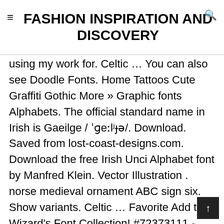FASHION INSPIRATION AND DISCOVERY
using my work for. Celtic … You can also see Doodle Fonts. Home Tattoos Cute Graffiti Gothic More » Graphic fonts Alphabets. The official standard name in Irish is Gaeilge / ˈɡeːlʲɟə/. Download. Saved from lost-coast-designs.com. Download the free Irish Unci Alphabet font by Manfred Klein. Vector Illustration . norse medieval ornament ABC sign six. Show variants. Celtic … Favorite Add to Wizard's Font Collection! #72373111 - Number 3 Celtic font. ( Contains all 26 alphabets ),